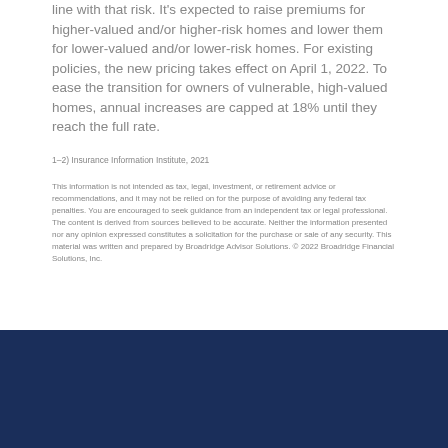line with that risk. It's expected to raise premiums for higher-valued and/or higher-risk homes and lower them for lower-valued and/or lower-risk homes. For existing policies, the new pricing takes effect on April 1, 2022. To ease the transition for owners of vulnerable, high-valued homes, annual increases are capped at 18% until they reach the full rate.
1–2) Insurance Information Institute, 2021
This information is not intended as tax, legal, investment, or retirement advice or recommendations, and it may not be relied on for the purpose of avoiding any federal tax penalties. You are encouraged to seek guidance from an independent tax or legal professional. The content is derived from sources believed to be accurate. Neither the information presented nor any opinion expressed constitutes a solicitation for the purchase or sale of any security. This material was written and prepared by Broadridge Advisor Solutions. © 2022 Broadridge Financial Solutions, Inc.